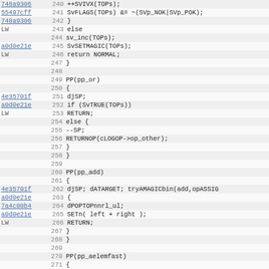[Figure (screenshot): Source code listing with line numbers 240-271, memory addresses on the left (some as blue hyperlinks), showing Perl interpreter C code for operations including SVp_NOK, SVp_POK, sv_inc, SvSETMAGIC, PP(pp_or), PP(pp_add), PP(pp_aelemfast) and related logic.]